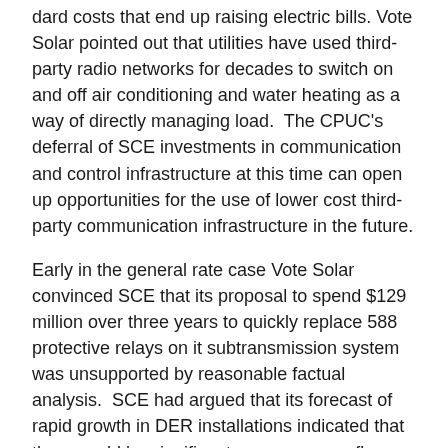…dard costs that end up raising electric bills. Vote Solar pointed out that utilities have used third-party radio networks for decades to switch on and off air conditioning and water heating as a way of directly managing load. The CPUC's deferral of SCE investments in communication and control infrastructure at this time can open up opportunities for the use of lower cost third-party communication infrastructure in the future.
Early in the general rate case Vote Solar convinced SCE that its proposal to spend $129 million over three years to quickly replace 588 protective relays on it subtransmission system was unsupported by reasonable factual analysis. SCE had argued that its forecast of rapid growth in DER installations indicated that there could be significant reverse power flows on the grid which could damage vulnerable…